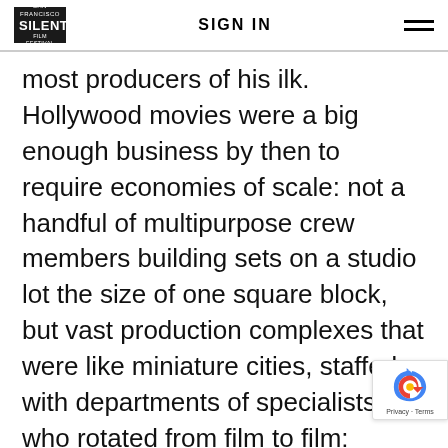SIGN IN
most producers of his ilk. Hollywood movies were a big enough business by then to require economies of scale: not a handful of multipurpose crew members building sets on a studio lot the size of one square block, but vast production complexes that were like miniature cities, staffed with departments of specialists who rotated from film to film: costumers, scriptwriters, electricians, carpenters, animal trainers.